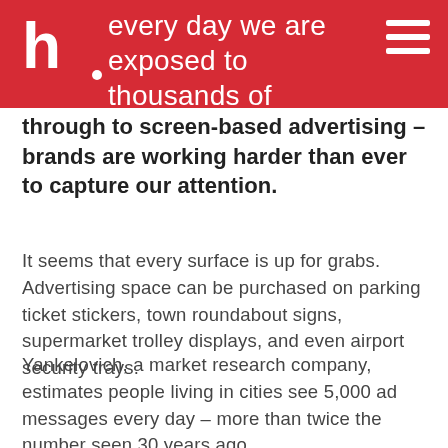every day we are exposed to thousands of commercial messages. From simple printed logos
through to screen-based advertising – brands are working harder than ever to capture our attention.
It seems that every surface is up for grabs. Advertising space can be purchased on parking ticket stickers, town roundabout signs, supermarket trolley displays, and even airport security trays.
Yankelovich, a market research company, estimates people living in cities see 5,000 ad messages every day – more than twice the number seen 30 years ago.